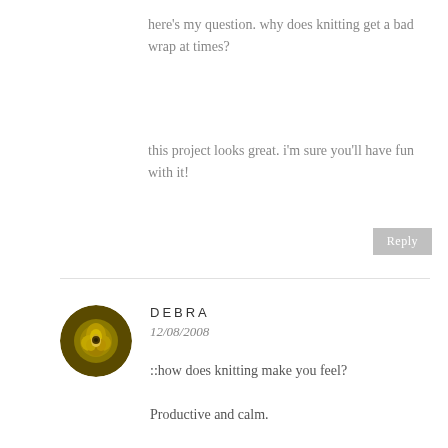here's my question. why does knitting get a bad wrap at times?
this project looks great. i'm sure you'll have fun with it!
DEBRA
12/08/2008
::how does knitting make you feel?
Productive and calm.